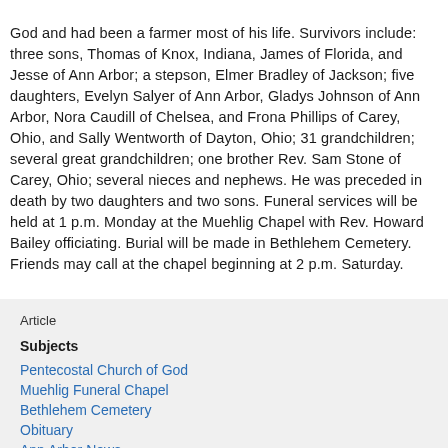God and had been a farmer most of his life. Survivors include: three sons, Thomas of Knox, Indiana, James of Florida, and Jesse of Ann Arbor; a stepson, Elmer Bradley of Jackson; five daughters, Evelyn Salyer of Ann Arbor, Gladys Johnson of Ann Arbor, Nora Caudill of Chelsea, and Frona Phillips of Carey, Ohio, and Sally Wentworth of Dayton, Ohio; 31 grandchildren; several great grandchildren; one brother Rev. Sam Stone of Carey, Ohio; several nieces and nephews. He was preceded in death by two daughters and two sons. Funeral services will be held at 1 p.m. Monday at the Muehlig Chapel with Rev. Howard Bailey officiating. Burial will be made in Bethlehem Cemetery. Friends may call at the chapel beginning at 2 p.m. Saturday.
Article
Subjects
Pentecostal Church of God
Muehlig Funeral Chapel
Bethlehem Cemetery
Obituary
Ann Arbor News
Old News
Thomas Stone
Stephen Stone